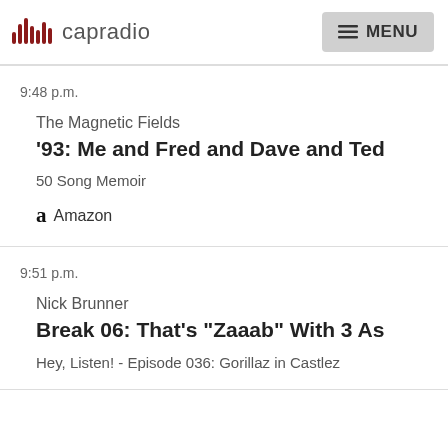capradio  MENU
9:48 p.m.
The Magnetic Fields
'93: Me and Fred and Dave and Ted
50 Song Memoir
Amazon
9:51 p.m.
Nick Brunner
Break 06: That's "Zaaab" With 3 As
Hey, Listen! - Episode 036: Gorillaz in Castlez